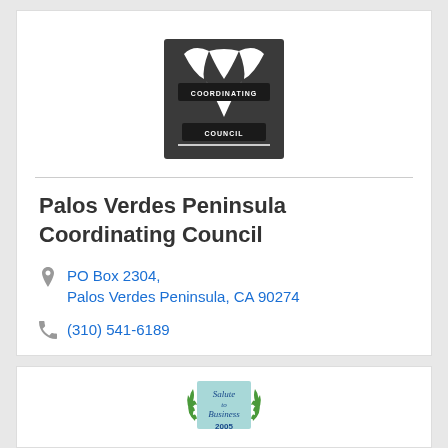[Figure (logo): Palos Verdes Peninsula Coordinating Council logo — dark square badge with stylized PV letters and banner text 'COORDINATING COUNCIL']
Palos Verdes Peninsula Coordinating Council
PO Box 2304, Palos Verdes Peninsula, CA 90274
(310) 541-6189
[Figure (logo): Salute to Business 2005 award badge with laurel wreath and script text]